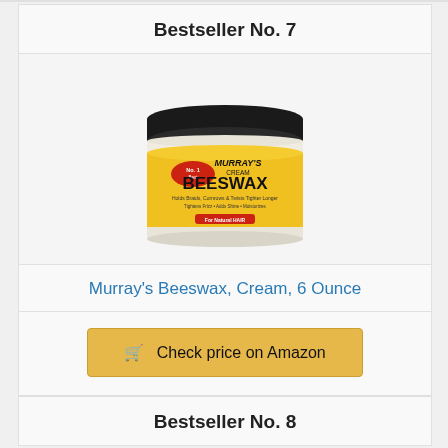Bestseller No. 7
[Figure (photo): Murray's Cream Beeswax product jar with black lid and yellow label]
Murray's Beeswax, Cream, 6 Ounce
Check price on Amazon
Bestseller No. 8